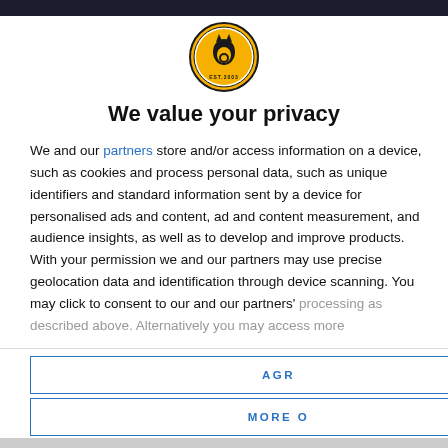[Figure (logo): Wolverhampton Wanderers FC circular badge logo with wolf head and EST.2003 text on gold and black badge]
We value your privacy
We and our partners store and/or access information on a device, such as cookies and process personal data, such as unique identifiers and standard information sent by a device for personalised ads and content, ad and content measurement, and audience insights, as well as to develop and improve products. With your permission we and our partners may use precise geolocation data and identification through device scanning. You may click to consent to our and our partners' processing as described above. Alternatively you may access more
AGR...
MORE O...
[Figure (photo): Video thumbnail showing a person in a blue Chelsea FC jersey at a press conference with sponsor logos including WhaleFin, trivago, and Nike visible in background. White play button triangle overlay on the center.]